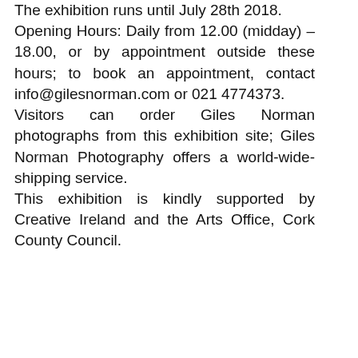The exhibition runs until July 28th 2018. Opening Hours: Daily from 12.00 (midday) – 18.00, or by appointment outside these hours; to book an appointment, contact info@gilesnorman.com or 021 4774373. Visitors can order Giles Norman photographs from this exhibition site; Giles Norman Photography offers a world-wide-shipping service. This exhibition is kindly supported by Creative Ireland and the Arts Office, Cork County Council.